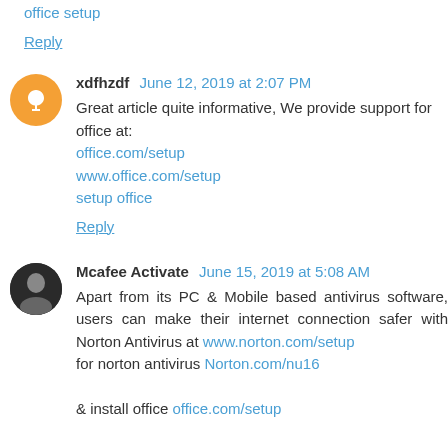office setup
Reply
xdfhzdf June 12, 2019 at 2:07 PM
Great article quite informative, We provide support for office at:
office.com/setup
www.office.com/setup
setup office
Reply
Mcafee Activate June 15, 2019 at 5:08 AM
Apart from its PC & Mobile based antivirus software, users can make their internet connection safer with Norton Antivirus at www.norton.com/setup
for norton antivirus Norton.com/nu16

& install office office.com/setup